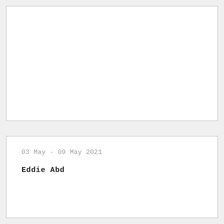[Figure (other): Empty white rectangular box at top of page]
03 May - 09 May 2021
Eddie Abd